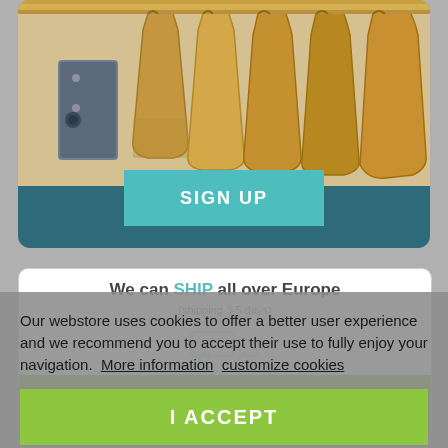[Figure (photo): Photo of brown paper shopping bags hanging on a wooden shelf/rack, viewed from below. Background is a dark teal/blue-green color card with rounded corners.]
SIGN UP
We can SHIP all over Europe
(shipping 3-5 days)
[Figure (illustration): Delivery truck icon outline in teal color]
I ACCEPT
Our webstore uses cookies to offer a better user experience and we recommend you to accept their use to fully enjoy your navigation.  More information  customize cookies
I ACCEPT